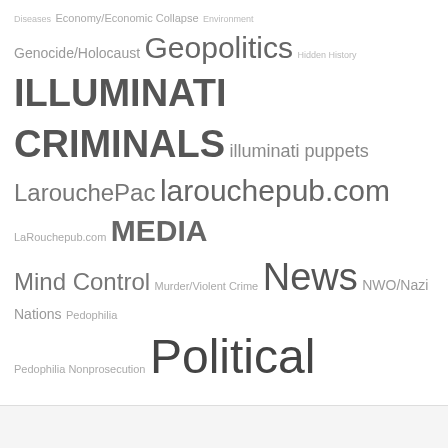[Figure (infographic): Tag cloud / word cloud with conspiracy theory and political topic categories in varying font sizes indicating frequency. Terms include Diseases, Economy/Economic Collapse, Environment, Genocide/Holocaust, Geopolitics, Hidden History, ILLUMINATI CRIMINALS, illuminati puppets, LarouchePac, larouchepub.com, LaRouchepub.com, MEDIA, Mind Control, Murder/Violent Crime, News, NWO/Nazi Nations, Pedophilia, Pedophilia Nonprosecution, Political Corruption/Manipulation, POLITICIANS, RACISM/DISCRIMINATION, Rape/Torture, Rothschild Khazarian Mafia & Zionists, Satanism, Satanists (ism), Social Engineering, Spirituality/Awakening, Terrorism, Vaccines, Violent criminals (crimes), WeAreChange, We Are Change, Whistleblowers/Wikileaks/Anonymous, WW3-Leading Toward, Your Health, Zionist Synagogue of Satan]